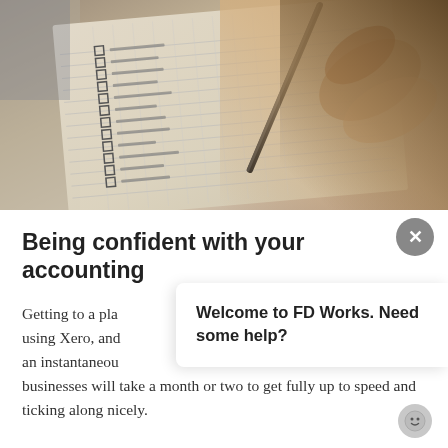[Figure (photo): Close-up photo of a hand holding a pen over a notebook with checkboxes, shown from above at an angle. The notebook has grid lines and multiple small square checkboxes listed down the page. The background is a muted warm tone suggesting a desk surface.]
Being confident with your accounting
Getting to a pla using Xero, and an instantaneou businesses will take a month or two to get fully up to speed and ticking along nicely.
Welcome to FD Works. Need some help?